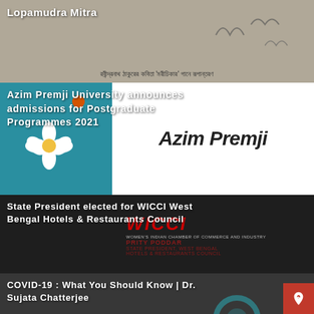Lopamudra Mitra
[Figure (photo): Card with text 'Lopamudra Mitra' and Bengali script subtitle, with bird silhouettes in background]
Azim Premji University announces admissions for Postgraduate Programmes 2021
[Figure (photo): Azim Premji University branding card with teal background, white flower logo on left, 'Azim Premji' text on right white panel]
State President elected for WICCI West Bengal Hotels & Restaurants Council
[Figure (photo): WICCI West Bengal card showing a woman's face, WICCI logo in red italic, Prity Poddar State President West Bengal Hotels & Restaurants Council text]
COVID-19 : What You Should Know | Dr. Sujata Chatterjee
[Figure (photo): COVID-19 informational card with woman and blue teal graphic elements in background]